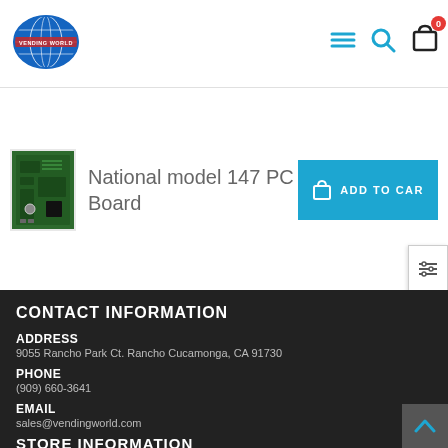[Figure (logo): Vending World globe logo with text 'VENDING WORLD']
[Figure (illustration): Navigation icons: hamburger menu, search magnifying glass, shopping bag with 0 badge]
[Figure (photo): Green circuit PC board product image]
National model 147 PC Board
[Figure (illustration): ADD TO CART button in blue with cart icon]
CONTACT INFORMATION
ADDRESS
9055 Rancho Park Ct. Rancho Cucamonga, CA 91730
PHONE
(909) 660-3641
EMAIL
sales@vendingworld.com
STORE INFORMATION
About us